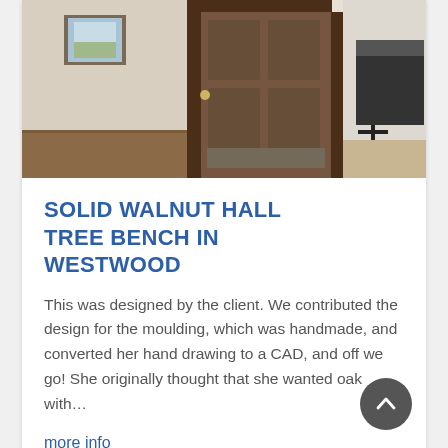[Figure (photo): Interior hallway photo showing a dark wooden door open, a framed painting on the wall to the left, and a glimpse of a kitchen/dining area with a bar stool and dark furniture to the right. Hardwood floors visible.]
SOLID WALNUT HALL TREE BENCH IN WESTWOOD
This was designed by the client. We contributed the design for the moulding, which was handmade, and converted her hand drawing to a CAD, and off we go! She originally thought that she wanted oak with…
more info